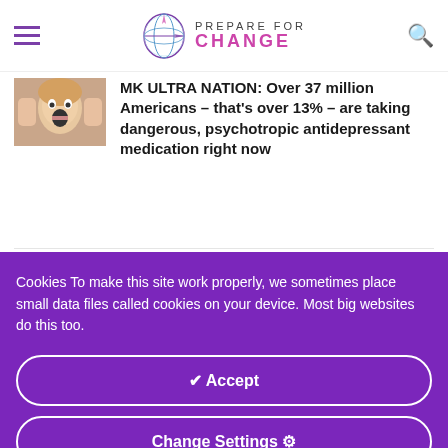PREPARE FOR CHANGE
[Figure (photo): Woman screaming with hands on head]
MK ULTRA NATION: Over 37 million Americans – that’s over 13% – are taking dangerous, psychotropic antidepressant medication right now
[Figure (photo): Man in red shirt with SC REPO banner overlay]
RATS SCURRY AS D.O.D. APPROVED VAX BIOWEAPON TRUTH EMERGES
Cookies To make this site work properly, we sometimes place small data files called cookies on your device. Most big websites do this too.
Accept
Change Settings